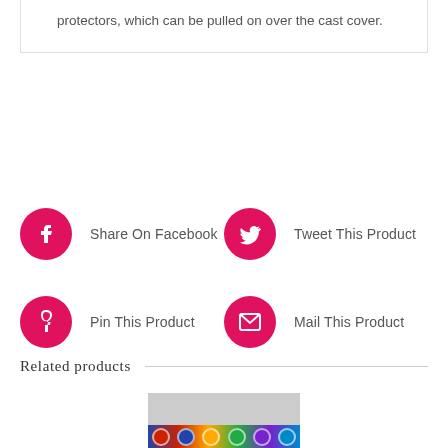protectors, which can be pulled on over the cast cover.
Share On Facebook
Tweet This Product
Pin This Product
Mail This Product
Related products
[Figure (photo): Product image thumbnail showing a colorful patterned product on a gray background]